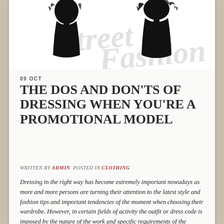[Figure (illustration): Black silhouette illustration of fashion models with 'Street Fashion' watermark text in grey in the background]
09 OCT
THE DOS AND DON'TS OF DRESSING WHEN YOU'RE A PROMOTIONAL MODEL
WRITTEN BY ADMIN  POSTED IN CLOTHING
Dressing in the right way has become extremely important nowadays as more and more persons are turning their attention to the latest style and fashion tips and important tendencies of the moment when choosing their wardrobe. However, in certain fields of activity the outfit or dress code is imposed by the nature of the work and specific requirements of the employers. In these cases, all that an individual can do is follow with great strictness the guidelines given and dress accordingly. But how can the personal taste and preferences in terms of fashion be